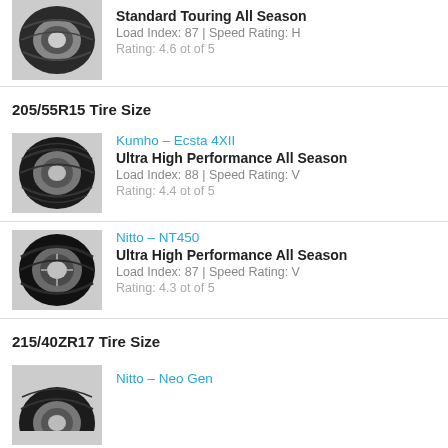[Figure (photo): Tire product photo - Standard Touring All Season tire]
Standard Touring All Season
Load Index: 87 | Speed Rating: H
Rating: 4.6 ot of 5
205/55R15 Tire Size
[Figure (photo): Tire product photo - Kumho Ecsta 4XII]
Kumho – Ecsta 4XII
Ultra High Performance All Season
Load Index: 88 | Speed Rating: V
Rating: 4.4 ot of 5
[Figure (photo): Tire product photo - Nitto NT450]
Nitto – NT450
Ultra High Performance All Season
Load Index: 87 | Speed Rating: V
Rating: 4.3 ot of 5
215/40ZR17 Tire Size
[Figure (photo): Tire product photo - Nitto Neo Gen]
Nitto – Neo Gen